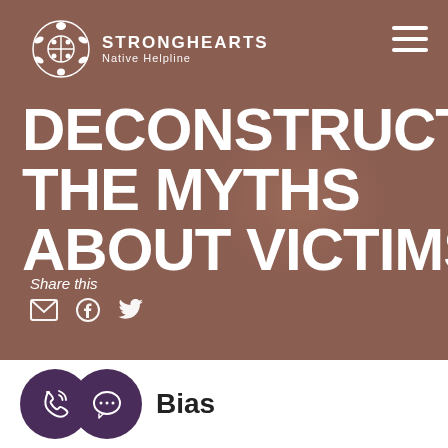STRONGHEARTS Native Helpline
DECONSTRUCTING THE MYTHS ABOUT VICTIMS
Share this
Bias